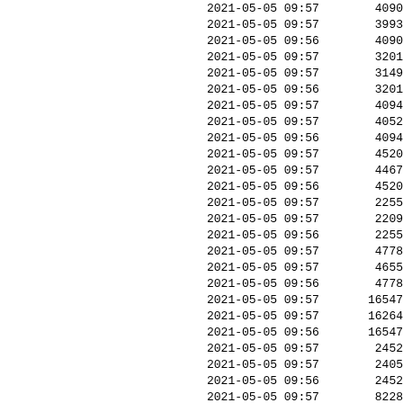| datetime | value |
| --- | --- |
| 2021-05-05 09:57 | 4090 |
| 2021-05-05 09:57 | 3993 |
| 2021-05-05 09:56 | 4090 |
| 2021-05-05 09:57 | 3201 |
| 2021-05-05 09:57 | 3149 |
| 2021-05-05 09:56 | 3201 |
| 2021-05-05 09:57 | 4094 |
| 2021-05-05 09:57 | 4052 |
| 2021-05-05 09:56 | 4094 |
| 2021-05-05 09:57 | 4520 |
| 2021-05-05 09:57 | 4467 |
| 2021-05-05 09:56 | 4520 |
| 2021-05-05 09:57 | 2255 |
| 2021-05-05 09:57 | 2209 |
| 2021-05-05 09:56 | 2255 |
| 2021-05-05 09:57 | 4778 |
| 2021-05-05 09:57 | 4655 |
| 2021-05-05 09:56 | 4778 |
| 2021-05-05 09:57 | 16547 |
| 2021-05-05 09:57 | 16264 |
| 2021-05-05 09:56 | 16547 |
| 2021-05-05 09:57 | 2452 |
| 2021-05-05 09:57 | 2405 |
| 2021-05-05 09:56 | 2452 |
| 2021-05-05 09:57 | 8228 |
| 2021-05-05 09:57 | 7888 |
| 2021-05-05 09:56 | 8228 |
| 2021-05-05 09:57 | 4316 |
| 2021-05-05 09:57 | 4269 |
| 2021-05-05 09:56 | 4316 |